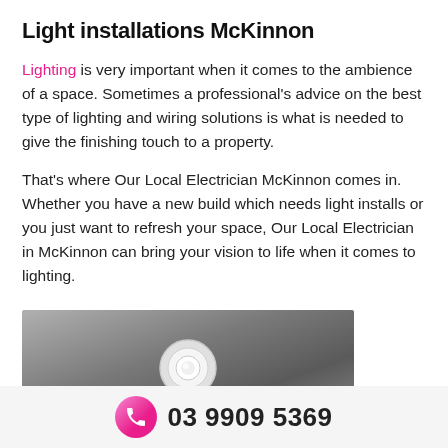Light installations McKinnon
Lighting is very important when it comes to the ambience of a space. Sometimes a professional's advice on the best type of lighting and wiring solutions is what is needed to give the finishing touch to a property.
That's where Our Local Electrician McKinnon comes in. Whether you have a new build which needs light installs or you just want to refresh your space, Our Local Electrician in McKinnon can bring your vision to life when it comes to lighting.
[Figure (photo): Close-up photo of a recessed downlight installed in a grey ceiling]
03 9909 5369